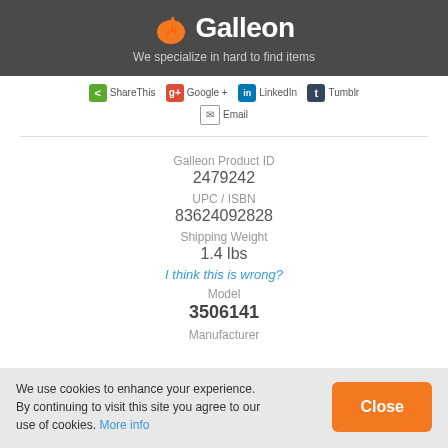Galleon — We specialize in hard to find items
ShareThis  Google +  LinkedIn  Tumblr  Email
Galleon Product ID
2479242
UPC / ISBN
83624092828
Shipping Weight
1.4 lbs
I think this is wrong?
Model
3506141
Manufacturer
We use cookies to enhance your experience. By continuing to visit this site you agree to our use of cookies. More info